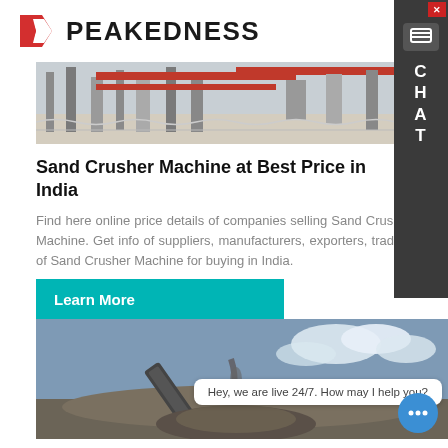[Figure (logo): Peakedness company logo with red arrow/P icon and bold PEAKEDNESS text]
[Figure (photo): Industrial machinery/conveyor equipment at a concrete batching plant, aerial/side view]
Sand Crusher Machine at Best Price in India
Find here online price details of companies selling Sand Crusher Machine. Get info of suppliers, manufacturers, exporters, traders of Sand Crusher Machine for buying in India.
[Figure (other): Teal/cyan Learn More button]
[Figure (photo): Sand crusher machine with conveyor belt dropping crushed stone/gravel against blue sky, with chat message overlay: Hey, we are live 24/7. How may I help you?]